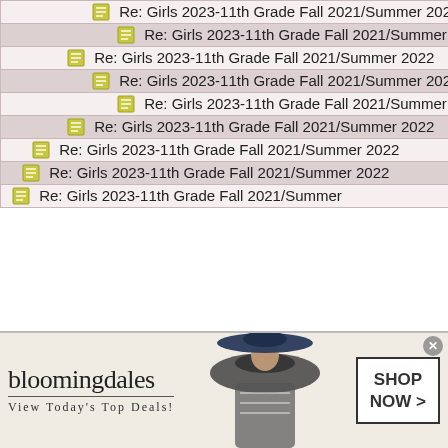| Topic | Author |
| --- | --- |
| Re: Girls 2023-11th Grade Fall 2021/Summer 2022 | Anonym |
| Re: Girls 2023-11th Grade Fall 2021/Summer 2022 | Anonym |
| Re: Girls 2023-11th Grade Fall 2021/Summer 2022 | Anonym |
| Re: Girls 2023-11th Grade Fall 2021/Summer 2022 | Anonym |
| Re: Girls 2023-11th Grade Fall 2021/Summer 2022 | Anonym |
| Re: Girls 2023-11th Grade Fall 2021/Summer 2022 | Anonym |
| Re: Girls 2023-11th Grade Fall 2021/Summer 2022 | Anonym |
| Re: Girls 2023-11th Grade Fall 2021/Summer 2022 | Anonym |
| Re: Girls 2023-11th Grade Fall 2021/Summer | Anonym |
[Figure (photo): Bloomingdale's advertisement banner showing a woman in a hat with text 'View Today's Top Deals!' and 'SHOP NOW >']